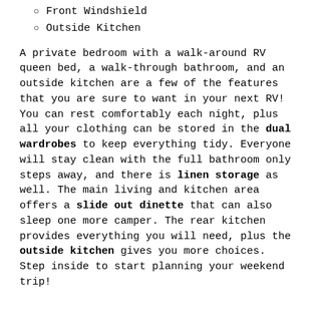Front Windshield
Outside Kitchen
A private bedroom with a walk-around RV queen bed, a walk-through bathroom, and an outside kitchen are a few of the features that you are sure to want in your next RV! You can rest comfortably each night, plus all your clothing can be stored in the dual wardrobes to keep everything tidy. Everyone will stay clean with the full bathroom only steps away, and there is linen storage as well. The main living and kitchen area offers a slide out dinette that can also sleep one more camper. The rear kitchen provides everything you will need, plus the outside kitchen gives you more choices. Step inside to start planning your weekend trip!